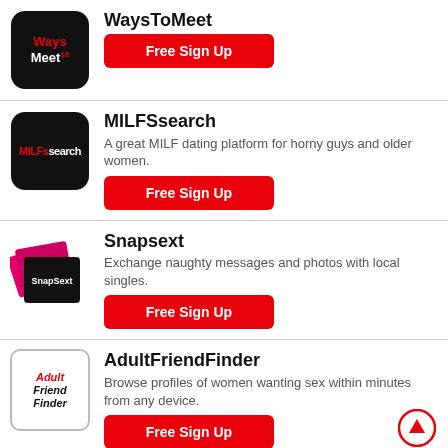WaysToMeet – Free Sign Up
MILFSsearch – A great MILF dating platform for horny guys and older women. – Free Sign Up
Snapsext – Exchange naughty messages and photos with local singles. – Free Sign Up
AdultFriendFinder – Browse profiles of women wanting sex within minutes from any device. – Free Sign Up